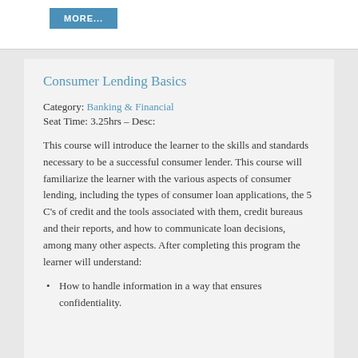[Figure (other): Blue 'MORE...' button on white top bar]
Consumer Lending Basics
Category: Banking & Financial
Seat Time: 3.25hrs – Desc:
This course will introduce the learner to the skills and standards necessary to be a successful consumer lender. This course will familiarize the learner with the various aspects of consumer lending, including the types of consumer loan applications, the 5 C's of credit and the tools associated with them, credit bureaus and their reports, and how to communicate loan decisions, among many other aspects. After completing this program the learner will understand:
How to handle information in a way that ensures confidentiality.